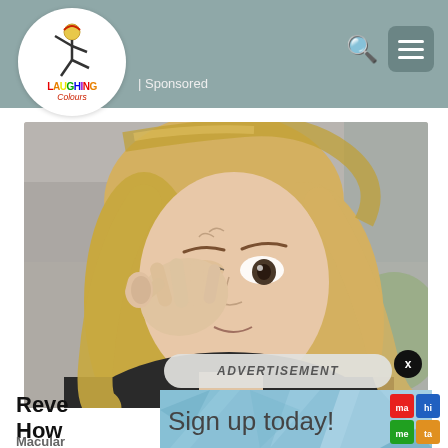Laughing Colours — Sponsored
[Figure (photo): Blonde woman rubbing/touching her eye with her fingers, looking distressed, outdoors with blurred background]
ADVERTISEMENT
Reve... How...
Macular
Sign up today!